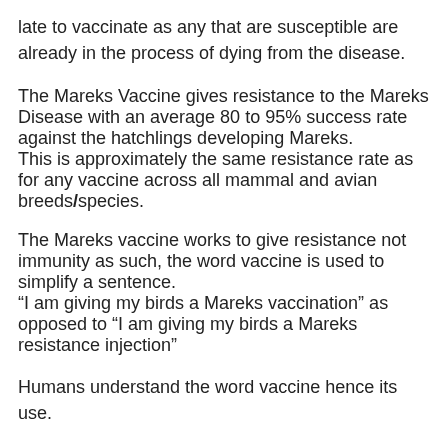late to vaccinate as any that are susceptible are already in the process of dying from the disease.
The Mareks Vaccine gives resistance to the Mareks Disease with an average 80 to 95% success rate against the hatchlings developing Mareks.
This is approximately the same resistance rate as for any vaccine across all mammal and avian breeds/species.
The Mareks vaccine works to give resistance not immunity as such, the word vaccine is used to simplify a sentence.
“I am giving my birds a Mareks vaccination” as opposed to “I am giving my birds a Mareks resistance injection”
Humans understand the word vaccine hence its use.
# some try to breed for resistance and do not vaccinate – this is their choice, but one has to remember that Mareks goes in a 7 year cycle so breeding for resistance